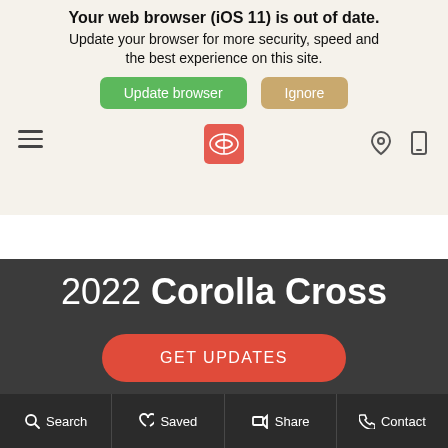COLONIAL TOYOTA
Your web browser (iOS 11) is out of date. Update your browser for more security, speed and the best experience on this site.
Update browser | Ignore
2022 Corolla Cross
GET UPDATES
Search  Saved  Share  Contact